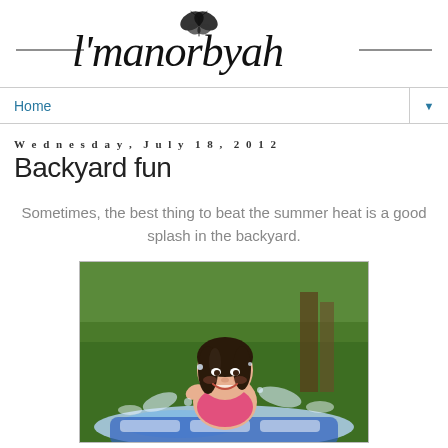l'manorbyah (blog logo/header)
Home
Wednesday, July 18, 2012
Backyard fun
Sometimes, the best thing to beat the summer heat is a good splash in the backyard.
[Figure (photo): Young girl smiling and splashing in a backyard water slide/pool on a sunny day, with green grass and trees in background]